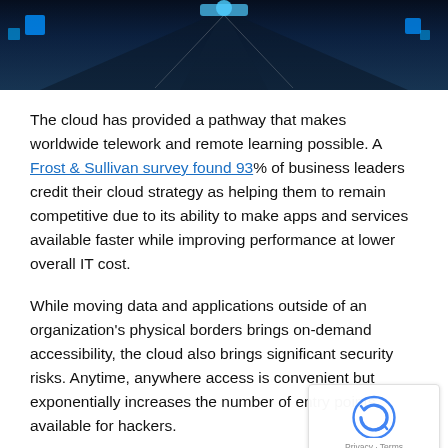[Figure (photo): Futuristic technology background image showing a glowing blue highway/tunnel perspective with digital elements and blue neon lights]
The cloud has provided a pathway that makes worldwide telework and remote learning possible. A Frost & Sullivan survey found 93% of business leaders credit their cloud strategy as helping them to remain competitive due to its ability to make apps and services available faster while improving performance at lower overall IT cost.
While moving data and applications outside of an organization's physical borders brings on-demand accessibility, the cloud also brings significant security risks. Anytime, anywhere access is convenient but exponentially increases the number of entry points available for hackers.
[Figure (logo): Google reCAPTCHA badge with circular arrow icon and Privacy - Terms links]